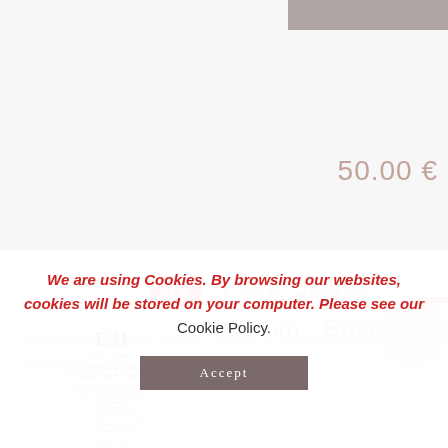50.00
[Figure (photo): Product image of EH Emma Hardie Lotus Flower Treatment Cream in a white jar with label showing EH logo, product name, and description. Red NEW badge in upper right corner.]
Lotus Flower Cream - Emma Hardie
EMMA HARDIE Lotus Flower Cream with egyptian lotus and sacred lotus reduce appearance of oil skin. Lotus Flower Cream helps to reduce
throughout all skin layers. Build a protective barrier to atmospheric and domestic pollution
We are using Cookies. By browsing our websites, cookies will be stored on your computer. Please see our Cookie Policy.
Accept